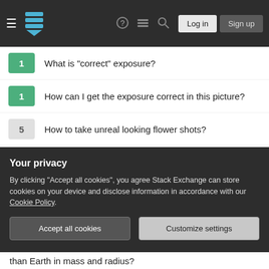[Figure (screenshot): Navigation bar with hamburger menu, Stack Exchange logo, question mark, chat, search icons, Login and Sign up buttons on dark background]
1   What is "correct" exposure?
1   How can I get the exposure correct in this picture?
5   How to take unreal looking flower shots?
0   How to set correct exposure in low light condition
1   How do I get correct exposure for long shutter times in bulb mode?
2   Exposure level indicator in the top panel not showing correct exposure on Canon 7DMKII
3   Correct lens type for product photography
Your privacy
By clicking "Accept all cookies", you agree Stack Exchange can store cookies on your device and disclose information in accordance with our Cookie Policy.
Accept all cookies   Customize settings
than Earth in mass and radius?